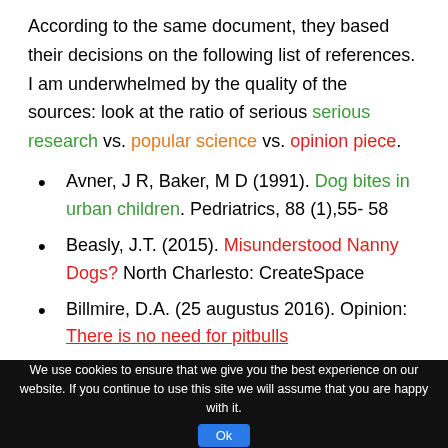According to the same document, they based their decisions on the following list of references. I am underwhelmed by the quality of the sources: look at the ratio of serious serious research vs. popular science vs. opinion piece.
Avner, J R, Baker, M D (1991). Dog bites in urban children. Pedriatrics, 88 (1),55- 58
Beasly, J.T. (2015). Misunderstood Nanny Dogs? North Charlesto: CreateSpace
Billmire, D.A. (25 augustus 2016). Opinion: There is no need for pitbulls
[cookie notice] We use cookies to ensure that we give you the best experience on our website. If you continue to use this site we will assume that you are happy with it. Ok